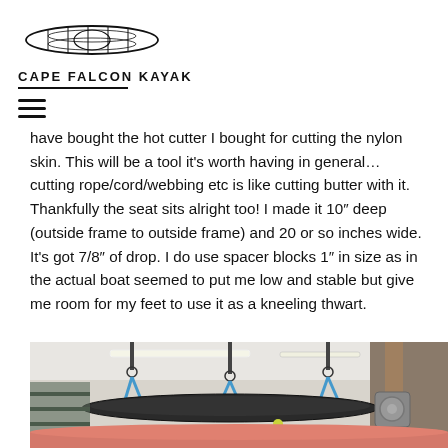CAPE FALCON KAYAK
have bought the hot cutter I bought for cutting the nylon skin. This will be a tool it's worth having in general... cutting rope/cord/webbing etc is like cutting butter with it. Thankfully the seat sits alright too! I made it 10″ deep (outside frame to outside frame) and 20 or so inches wide. It's got 7/8″ of drop. I do use spacer blocks 1″ in size as in the actual boat seemed to put me low and stable but give me room for my feet to use it as a kneeling thwart.
[Figure (photo): Interior workshop/garage with kayaks hanging from ceiling using straps and pulleys, fluorescent lighting, workshop shelving visible, large salmon/coral colored kayak hull visible at bottom]